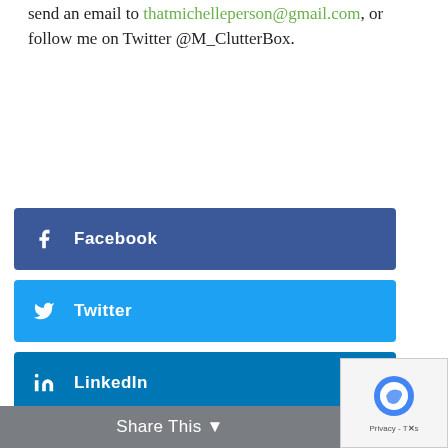send an email to thatmichelleperson@gmail.com, or follow me on Twitter @M_ClutterBox.
[Figure (other): Social share buttons for Facebook, Twitter, and LinkedIn]
Subscribe To My Latest Posts!
Leave your email below to get an email whenever I have a new article!
Share This